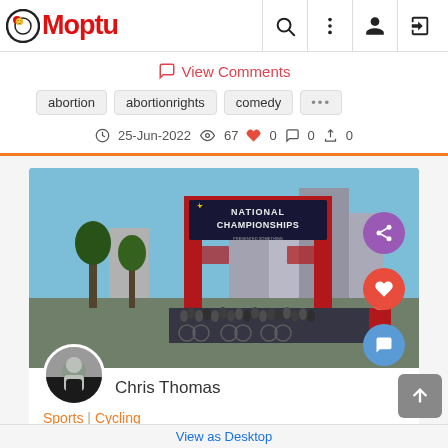Moptu
View Comments
abortion
abortionrights
comedy
25-Jun-2022  67  0  0  0
[Figure (photo): Cycling National Championships event photo showing crowd of cyclists under a large red archway banner reading 'NATIONAL CHAMPIONSHIPS', with city buildings in background]
Chris Thomas
Sports | Cycling
We...
View as Desktop